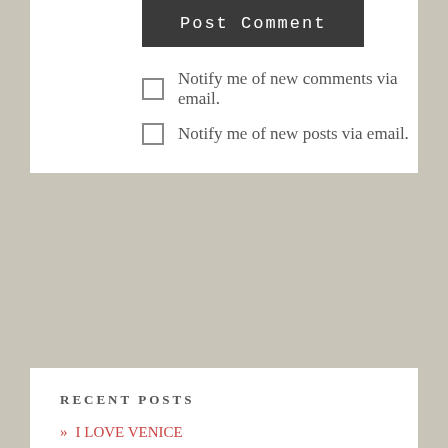Post Comment
Notify me of new comments via email.
Notify me of new posts via email.
RECENT POSTS
» I LOVE VENICE
» CASTELBUONO, SICILY
» Time to blog again,
» CATANIA, SICILY FRESH SEAFOOD FOR EVERYONE
» GOTCHA, again, and again, Italy's New Way To Collect Traffic Violations